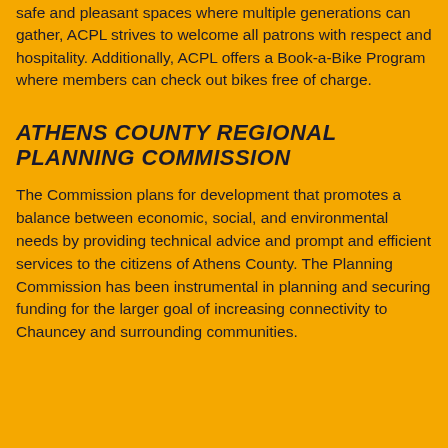safe and pleasant spaces where multiple generations can gather, ACPL strives to welcome all patrons with respect and hospitality. Additionally, ACPL offers a Book-a-Bike Program where members can check out bikes free of charge.
ATHENS COUNTY REGIONAL PLANNING COMMISSION
The Commission plans for development that promotes a balance between economic, social, and environmental needs by providing technical advice and prompt and efficient services to the citizens of Athens County. The Planning Commission has been instrumental in planning and securing funding for the larger goal of increasing connectivity to Chauncey and surrounding communities.